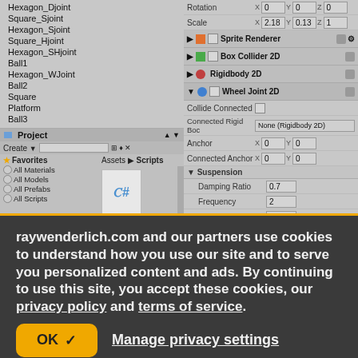[Figure (screenshot): Unity Editor screenshot showing Hierarchy panel with game objects (Hexagon_Djoint, Square_Sjoint, Hexagon_Sjoint, Square_Hjoint, Hexagon_SHjoint, Ball1, Hexagon_WJoint, Ball2, Square, Platform, Ball3), Project panel showing Assets > Scripts with a C# script file, and Inspector panel showing components: Sprite Renderer, Box Collider 2D, Rigidbody 2D, Wheel Joint 2D with properties including Collide Connected, Connected Rigid Body (None/Rigidbody 2D), Anchor X:0 Y:0, Connected Anchor X:0 Y:0, Suspension (Damping Ratio: 0.7, Frequency: 2, Angle: 90), Use Motor, Motor (Motor Speed: 0)]
raywenderlich.com and our partners use cookies to understand how you use our site and to serve you personalized content and ads. By continuing to use this site, you accept these cookies, our privacy policy and terms of service.
OK  Manage privacy settings